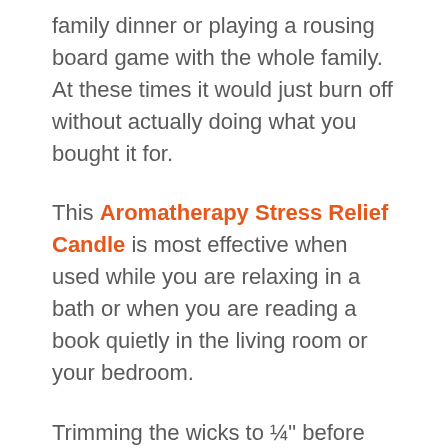family dinner or playing a rousing board game with the whole family. At these times it would just burn off without actually doing what you bought it for.
This Aromatherapy Stress Relief Candle is most effective when used while you are relaxing in a bath or when you are reading a book quietly in the living room or your bedroom.
Trimming the wicks to ¼" before you light them will keep your candles looking clean